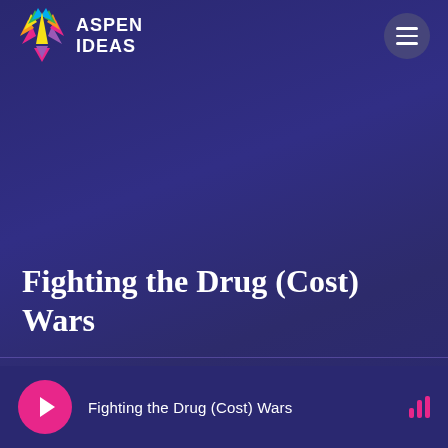[Figure (logo): Aspen Ideas logo with colorful leaf/tree icon and white text ASPEN IDEAS]
[Figure (other): Hamburger menu button (three horizontal lines) in a dark circular button]
Fighting the Drug (Cost) Wars
[Figure (other): Audio player bar with pink play button, title text 'Fighting the Drug (Cost) Wars', and pink audio bars icon]